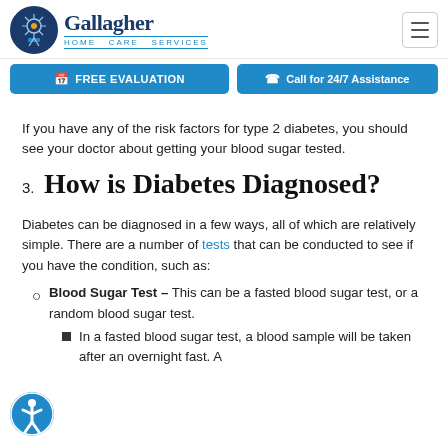Gallagher Home Care Services
FREE EVALUATION | Call for 24/7 Assistance
If you have any of the risk factors for type 2 diabetes, you should see your doctor about getting your blood sugar tested.
3. How is Diabetes Diagnosed?
Diabetes can be diagnosed in a few ways, all of which are relatively simple. There are a number of tests that can be conducted to see if you have the condition, such as:
Blood Sugar Test - This can be a fasted blood sugar test, or a random blood sugar test.
In a fasted blood sugar test, a blood sample will be taken after an overnight fast. A